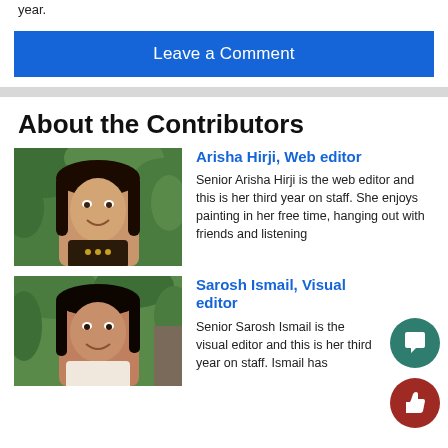year.
Leave a Comment
About the Contributors
[Figure (photo): Photo of Arisha Hirji, smiling young woman with long dark hair, outdoors with green bushes in background]
Arisha Hirji, Web editor
Senior Arisha Hirji is the web editor and this is her third year on staff. She enjoys painting in her free time, hanging out with friends and listening
[Figure (photo): Photo of Sarosh Ismail, smiling young woman with long dark hair, outdoors]
Sarosh Ismail, Visual editor
Senior Sarosh Ismail is the visual editor and this is her third year on staff. Ismail has